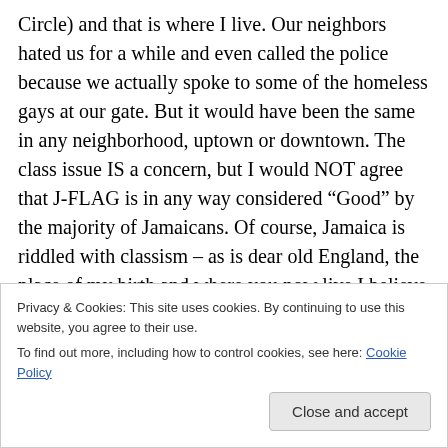Circle) and that is where I live. Our neighbors hated us for a while and even called the police because we actually spoke to some of the homeless gays at our gate. But it would have been the same in any neighborhood, uptown or downtown. The class issue IS a concern, but I would NOT agree that J-FLAG is in any way considered “Good” by the majority of Jamaicans. Of course, Jamaica is riddled with classism – as is dear old England, the place of my birth and where you now live I believe – to this day. It has
Privacy & Cookies: This site uses cookies. By continuing to use this website, you agree to their use.
To find out more, including how to control cookies, see here: Cookie Policy